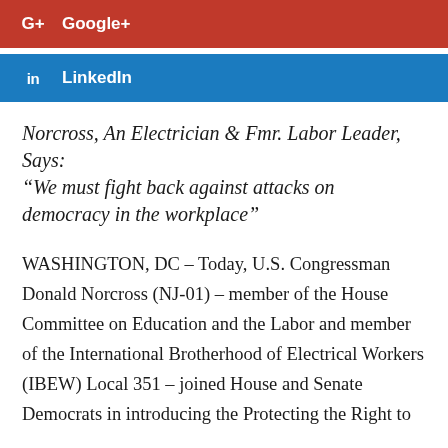[Figure (other): Google+ social share button bar in red]
[Figure (other): LinkedIn social share button bar in blue]
Norcross, An Electrician & Fmr. Labor Leader, Says: “We must fight back against attacks on democracy in the workplace”
WASHINGTON, DC – Today, U.S. Congressman Donald Norcross (NJ-01) – member of the House Committee on Education and the Labor and member of the International Brotherhood of Electrical Workers (IBEW) Local 351 – joined House and Senate Democrats in introducing the Protecting the Right to